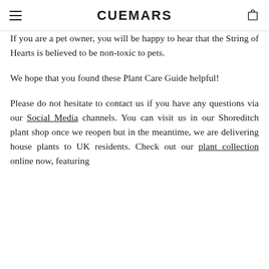CUEMARS
If you are a pet owner, you will be happy to hear that the String of Hearts is believed to be non-toxic to pets.
We hope that you found these Plant Care Guide helpful!
Please do not hesitate to contact us if you have any questions via our Social Media channels. You can visit us in our Shoreditch plant shop once we reopen but in the meantime, we are delivering house plants to UK residents. Check out our plant collection online now, featuring